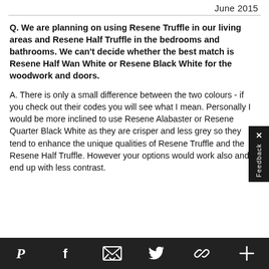June 2015
Q. We are planning on using Resene Truffle in our living areas and Resene Half Truffle in the bedrooms and bathrooms. We can't decide whether the best match is Resene Half Wan White or Resene Black White for the woodwork and doors.
A. There is only a small difference between the two colours - if you check out their codes you will see what I mean. Personally I would be more inclined to use Resene Alabaster or Resene Quarter Black White as they are crisper and less grey so they tend to enhance the unique qualities of Resene Truffle and the Resene Half Truffle. However your options would work also and end up with less contrast.
Social share icons: Pinterest, Facebook, Email, Twitter, Link, Plus